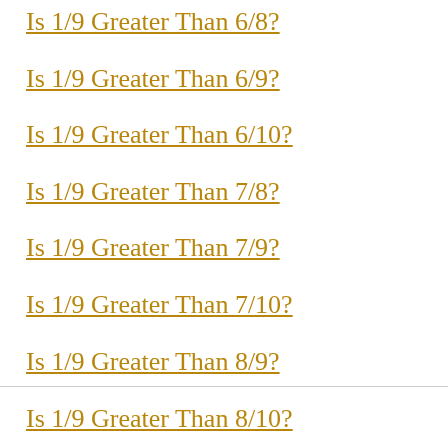Is 1/9 Greater Than 6/8?
Is 1/9 Greater Than 6/9?
Is 1/9 Greater Than 6/10?
Is 1/9 Greater Than 7/8?
Is 1/9 Greater Than 7/9?
Is 1/9 Greater Than 7/10?
Is 1/9 Greater Than 8/9?
Is 1/9 Greater Than 8/10?